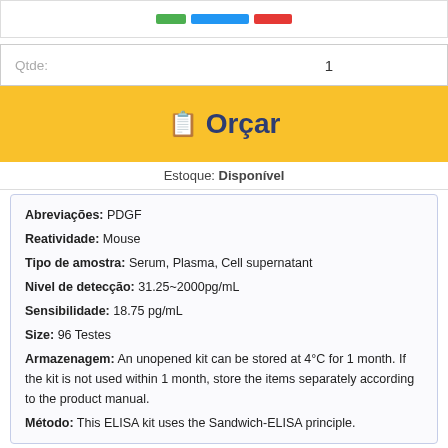[Figure (other): Color bar with green, blue and red segments at top]
Qtde: 1
Orçar
Estoque: Disponível
Abreviações: PDGF
Reatividade: Mouse
Tipo de amostra: Serum, Plasma, Cell supernatant
Nivel de detecção: 31.25~2000pg/mL
Sensibilidade: 18.75 pg/mL
Size: 96 Testes
Armazenagem: An unopened kit can be stored at 4°C for 1 month. If the kit is not used within 1 month, store the items separately according to the product manual.
Método: This ELISA kit uses the Sandwich-ELISA principle.